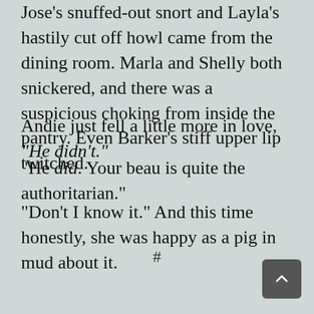Jose's snuffed-out snort and Layla's hastily cut off howl came from the dining room. Marla and Shelly both snickered, and there was a suspicious choking from inside the pantry. Even Barker's stiff upper lip twitched.
Andie just fell a little more in love, “He didn’t.”
“He did. Your beau is quite the authoritarian.”
“Don't I know it.” And this time honestly, she was happy as a pig in mud about it.
#